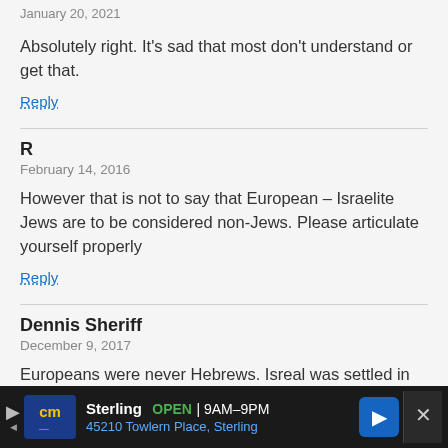January 20, 2021
Absolutely right. It’s sad that most don’t understand or get that.
Reply
R
February 14, 2016
However that is not to say that European – Israelite Jews are to be considered non-Jews. Please articulate yourself properly
Reply
Dennis Sheriff
December 9, 2017
Europeans were never Hebrews. Isreal was settled in canaan which was between southern Asia and northerneast Africa and
[Figure (screenshot): Advertisement bar at bottom: Sterling OPEN 9AM-9PM, 45210 Towlern Place, Sterling, with CM logo and navigation icon]